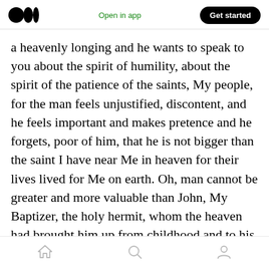Medium logo | Open in app | Get started
a heavenly longing and he wants to speak to you about the spirit of humility, about the spirit of the patience of the saints, My people, for the man feels unjustified, discontent, and he feels important and makes pretence and he forgets, poor of him, that he is not bigger than the saint I have near Me in heaven for their lives lived for Me on earth. Oh, man cannot be greater and more valuable than John, My Baptizer, the holy hermit, whom the heaven had brought him up from childhood and to his appearance at Jordan, and there was no one to bring him up on earth,
Home | Search | Profile